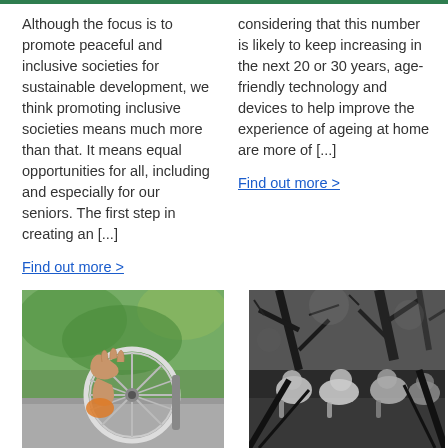Although the focus is to promote peaceful and inclusive societies for sustainable development, we think promoting inclusive societies means much more than that. It means equal opportunities for all, including and especially for our seniors. The first step in creating an [...]
Find out more >
considering that this number is likely to keep increasing in the next 20 or 30 years, age-friendly technology and devices to help improve the experience of ageing at home are more of [...]
Find out more >
[Figure (photo): Close-up color photo of a person's hand gripping a wheelchair wheel on an outdoor paved path surrounded by green foliage.]
[Figure (photo): Black and white photo of a group of elderly people sitting together outdoors, with trees and branches visible in the background.]